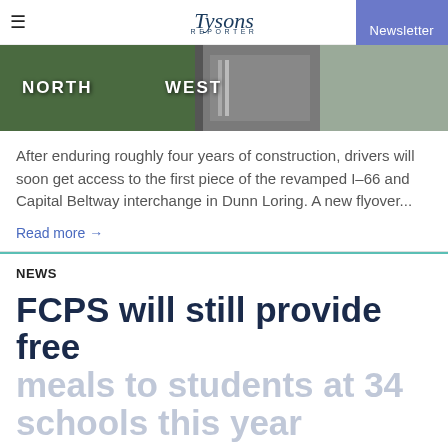Tysons Reporter | Newsletter
[Figure (photo): Aerial photo of highway interchange with NORTH and WEST text labels overlaid]
After enduring roughly four years of construction, drivers will soon get access to the first piece of the revamped I-66 and Capital Beltway interchange in Dunn Loring. A new flyover...
Read more →
NEWS
FCPS will still provide free meals to students at 34 schools this year